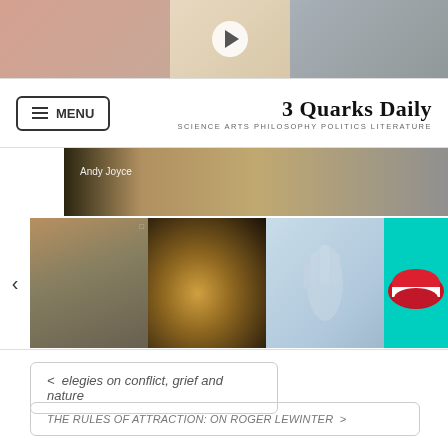[Figure (photo): Top image strip showing three segments: blurry pink/beige tones on left, center section with a video play button overlay, gray/muted tones on right]
MENU | 3 Quarks Daily | SCIENCE ARTS PHILOSOPHY POLITICS LITERATURE
[Figure (photo): Hero banner image with dark and sandy tones, text overlay reading 'Andy Joyce']
[Figure (photo): Thumbnail row showing four image thumbnails: textured mechanical, Jupiter's Great Red Spot swirl, pale blue hand/fingers, and red lips on cyan background]
< elegies on conflict, grief and nature
THE RULES OF ATTRACTION: ON ROGER LEWINTER >
Comments  Community  🔒  1  Login ▼
♡ Favorite   Sort by Oldest ▼
Start the discussion...